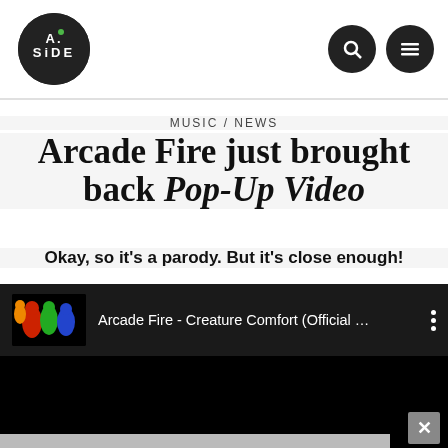A.Side logo with search and menu icons
MUSIC / NEWS
Arcade Fire just brought back Pop-Up Video
Okay, so it's a parody. But it's close enough!
[Figure (screenshot): YouTube video embed showing Arcade Fire - Creature Comfort (Official ...) with video thumbnail and three-dot menu icon on dark background]